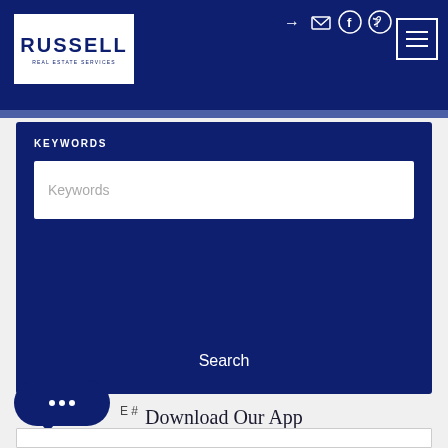Russell Real Estate Services
KEYWORDS
Keywords
Search
Download Our App
E #